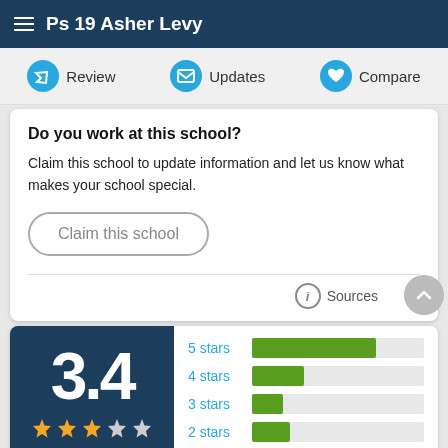Ps 19 Asher Levy
[Figure (screenshot): Navigation row with Review, Updates, Compare icons]
Do you work at this school?
Claim this school to update information and let us know what makes your school special.
Claim this school
Sources
[Figure (bar-chart): Horizontal bar chart showing star rating distribution. 5 stars has the longest bar, 4 stars medium, 3 stars small, 2 stars small.]
3.4